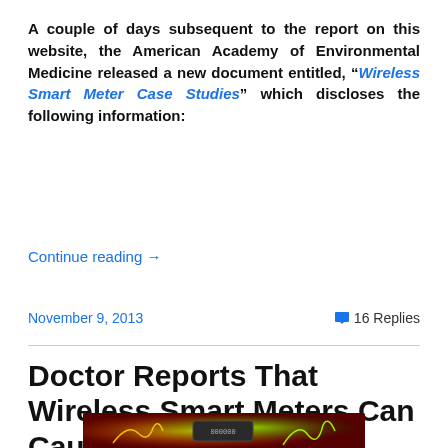A couple of days subsequent to the report on this website, the American Academy of Environmental Medicine released a new document entitled, “Wireless Smart Meter Case Studies,” which discloses the following information:
Continue reading →
November 9, 2013    💬 16 Replies
Doctor Reports That Wireless Smart Meters Can Cause Illness
[Figure (photo): Photo of a wireless smart meter with dramatic red, yellow, and green lightning/energy effects background]